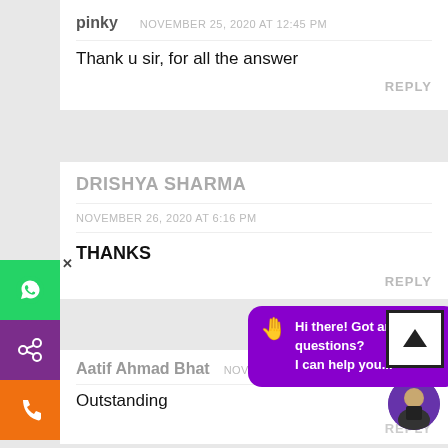pinky   NOVEMBER 25, 2020 AT 12:45 PM
Thank u sir, for all the answer
REPLY
DRISHYA SHARMA
NOVEMBER 26, 2020 AT 6:16 PM
THANKS
REPLY
Hi there! Got any questions? I can help you...
Aatif Ahmad Bhat   NOVEMBER 29, 2020 AT 9:19 PM
Outstanding
REPLY